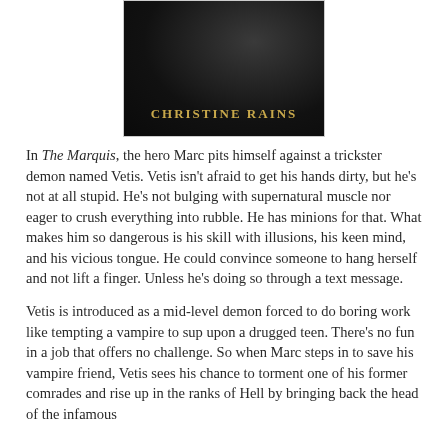[Figure (illustration): Book cover for 'The Marquis' by Christine Rains — dark background with shadowy figure, author name in gold letters]
In The Marquis, the hero Marc pits himself against a trickster demon named Vetis. Vetis isn't afraid to get his hands dirty, but he's not at all stupid. He's not bulging with supernatural muscle nor eager to crush everything into rubble. He has minions for that. What makes him so dangerous is his skill with illusions, his keen mind, and his vicious tongue. He could convince someone to hang herself and not lift a finger. Unless he's doing so through a text message.
Vetis is introduced as a mid-level demon forced to do boring work like tempting a vampire to sup upon a drugged teen. There's no fun in a job that offers no challenge. So when Marc steps in to save his vampire friend, Vetis sees his chance to torment one of his former comrades and rise up in the ranks of Hell by bringing back the head of the infamous